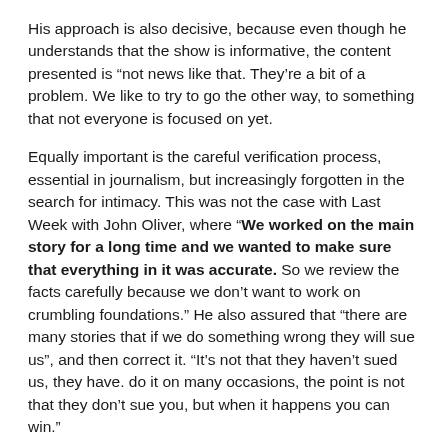His approach is also decisive, because even though he understands that the show is informative, the content presented is “not news like that. They’re a bit of a problem. We like to try to go the other way, to something that not everyone is focused on yet.
Equally important is the careful verification process, essential in journalism, but increasingly forgotten in the search for intimacy. This was not the case with Last Week with John Oliver, where “We worked on the main story for a long time and we wanted to make sure that everything in it was accurate. So we review the facts carefully because we don’t want to work on crumbling foundations.” He also assured that “there are many stories that if we do something wrong they will sue us”, and then correct it. “It’s not that they haven’t sued us, they have. do it on many occasions, the point is not that they don’t sue you, but when it happens you can win.”